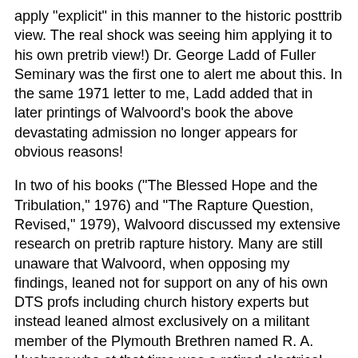apply "explicit" in this manner to the historic posttrib view. The real shock was seeing him applying it to his own pretrib view!) Dr. George Ladd of Fuller Seminary was the first one to alert me about this. In the same 1971 letter to me, Ladd added that in later printings of Walvoord's book the above devastating admission no longer appears for obvious reasons!
In two of his books ("The Blessed Hope and the Tribulation," 1976) and "The Rapture Question, Revised," 1979), Walvoord discussed my extensive research on pretrib rapture history. Many are still unaware that Walvoord, when opposing my findings, leaned not for support on any of his own DTS profs including church history experts but instead leaned almost exclusively on a militant member of the Plymouth Brethren named R. A. Huebner who at that time was a retired electrical engineer who had admitted that he had never attended college, seminary, or even a Bible school! (My research, BTW, has uncovered serious copying errors in Huebner's works - 95 of them in his 1973 booklet and 257 in his 1991 book including words changed, added, or subtracted when quoting others!)
Walvoord's "The Rapture Question" also declares on p. 127: "Posttribulationism has long been a common doctrine held